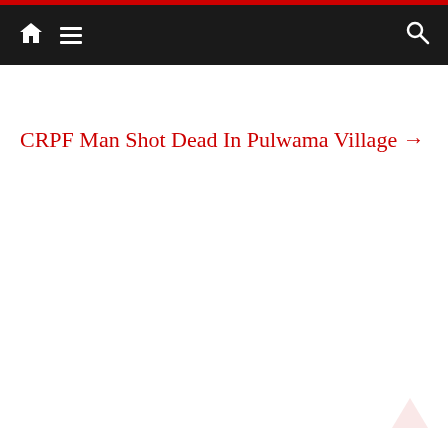Navigation bar with home icon, menu icon, and search icon
CRPF Man Shot Dead In Pulwama Village →